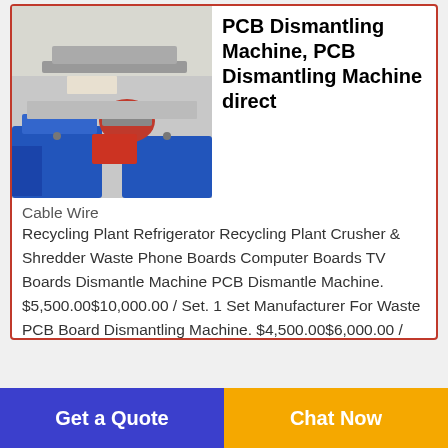[Figure (photo): PCB dismantling machine in a workshop — blue and orange industrial machine on a concrete floor]
PCB Dismantling Machine, PCB Dismantling Machine direct
Cable Wire Recycling Plant Refrigerator Recycling Plant Crusher & Shredder Waste Phone Boards Computer Boards TV Boards Dismantle Machine PCB Dismantle Machine. $5,500.00$10,000.00 / Set. 1 Set Manufacturer For Waste PCB Board Dismantling Machine. $4,500.00$6,000.00 / Set. 1
[Figure (photo): Electronic dismantling facility interior — shelves or racks of electronic equipment]
Electronic
Get a Quote
Chat Now